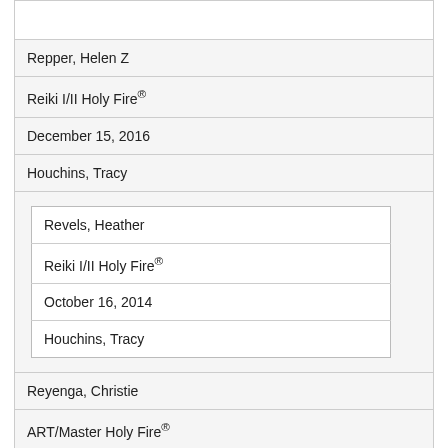| Repper, Helen Z |
| Reiki I/II Holy Fire® |
| December 15, 2016 |
| Houchins, Tracy |
| [nested: Revels, Heather | Reiki I/II Holy Fire® | October 16, 2014 | Houchins, Tracy] |
| Reyenga, Christie |
| ART/Master Holy Fire® |
| May 24, 2015 |